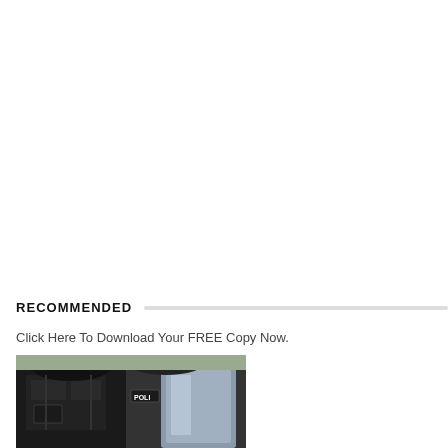RECOMMENDED
Click Here To Download Your FREE Copy Now.
[Figure (photo): Police officers in black tactical gear and helmets, one wearing a vest labeled POLI (police), photographed from the chest level outdoors.]